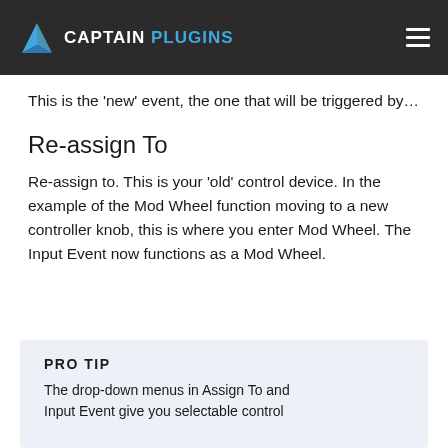CAPTAIN PLUGINS
This is the ‘new’ event, the one that will be triggered by…
Re-assign To
Re-assign to. This is your ‘old’ control device. In the example of the Mod Wheel function moving to a new controller knob, this is where you enter Mod Wheel. The Input Event now functions as a Mod Wheel.
PRO TIP
The drop-down menus in Assign To and Input Event give you selectable control